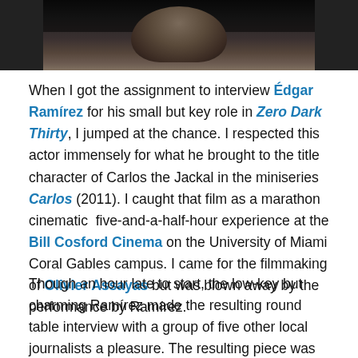[Figure (photo): Close-up portrait photo of a man with dark beard and short hair, wearing a dark jacket, cropped to show face and upper chest. Dark/moody lighting.]
When I got the assignment to interview Édgar Ramírez for his small but key role in Zero Dark Thirty, I jumped at the chance. I respected this actor immensely for what he brought to the title character of Carlos the Jackal in the miniseries Carlos (2011). I caught that film as a marathon cinematic  five-and-a-half-hour experience at the Bill Cosford Cinema on the University of Miami Coral Gables campus. I came for the filmmaking of Olivier Assayas but was blown away by the performance by Ramírez.
Though an hour late to start, the low-key but charming Ramírez made the resulting round table interview with a group of five other local journalists a pleasure. The resulting piece was published early yesterday morning for